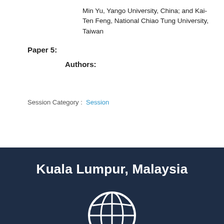Min Yu, Yango University, China; and Kai-Ten Feng, National Chiao Tung University, Taiwan
Paper 5:
Authors:
Session Category :  Session
Kuala Lumpur, Malaysia
[Figure (illustration): White globe/world icon outline on dark navy background]